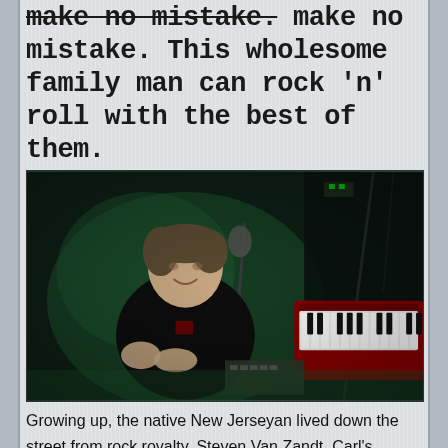make no mistake. This wholesome family man can rock 'n' roll with the best of them.
[Figure (photo): A man sitting in front of a red keyboard/piano in what appears to be a backstage or studio setting, smiling and gesturing with his hands. Music equipment and cables visible in the background.]
Growing up, the native New Jerseyan lived down the street from rock royalty, Steven Van Zandt. Carl's dream of becoming a successful musician